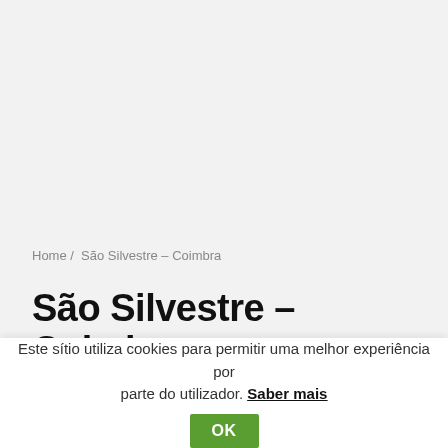Home /  São Silvestre – Coimbra
São Silvestre – Coimbra
Este sítio utiliza cookies para permitir uma melhor experiência por parte do utilizador. Saber mais  OK